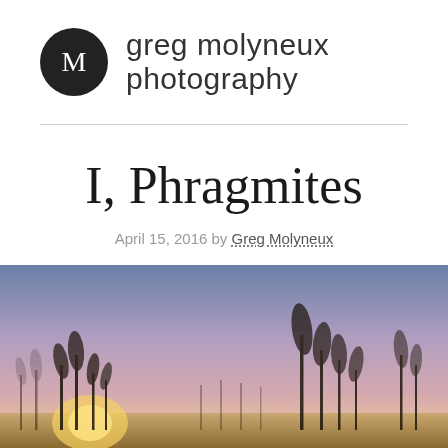M  greg molyneux photography
I, Phragmites
April 15, 2016 by Greg Molyneux
[Figure (photo): Silhouettes of phragmites (reed grass) against a warm sunset sky with gradient from orange/yellow at the bottom to purple/blue at the top. Soft bokeh photo, wide angle.]